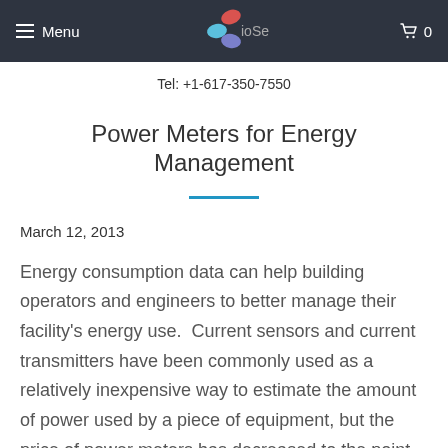Menu | [logo] | Cart 0
Tel: +1-617-350-7550
Power Meters for Energy Management
March 12, 2013
Energy consumption data can help building operators and engineers to better manage their facility's energy use. Current sensors and current transmitters have been commonly used as a relatively inexpensive way to estimate the amount of power used by a piece of equipment, but the price of power meters has decreased to the point that they should be considered for many applications.